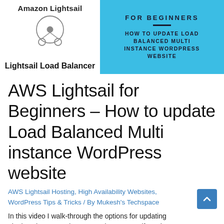[Figure (logo): Amazon Lightsail logo with text 'Amazon Lightsail' and a load balancer icon (circle with nodes), labeled 'Lightsail Load Balancer']
[Figure (illustration): Book cover with cyan background showing 'FOR BEGINNERS' and 'HOW TO UPDATE LOAD BALANCED MULTI INSTANCE WORDPRESS WEBSITE']
AWS Lightsail for Beginners – How to update Load Balanced Multi instance WordPress website
AWS Lightsail Hosting, High Availability Websites, WordPress Tips & Tricks / By Mukesh's Techspace
In this video I walk-through the options for updating plugins, themes and even WordPress core if you have a